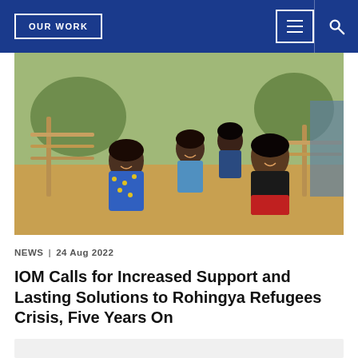OUR WORK
[Figure (photo): Group of smiling Rohingya refugee children sitting outdoors near bamboo structures and sandy terrain in a refugee camp setting.]
NEWS | 24 Aug 2022
IOM Calls for Increased Support and Lasting Solutions to Rohingya Refugees Crisis, Five Years On